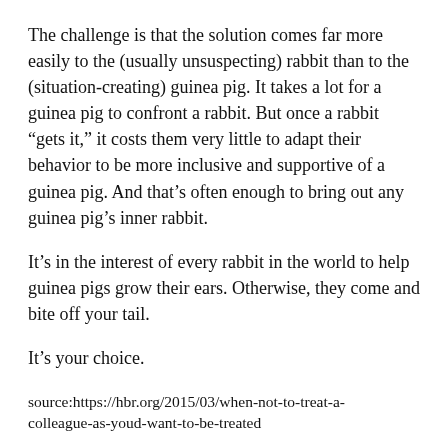The challenge is that the solution comes far more easily to the (usually unsuspecting) rabbit than to the (situation-creating) guinea pig. It takes a lot for a guinea pig to confront a rabbit. But once a rabbit “gets it,” it costs them very little to adapt their behavior to be more inclusive and supportive of a guinea pig. And that’s often enough to bring out any guinea pig’s inner rabbit.
It’s in the interest of every rabbit in the world to help guinea pigs grow their ears. Otherwise, they come and bite off your tail.
It’s your choice.
source:https://hbr.org/2015/03/when-not-to-treat-a-colleague-as-youd-want-to-be-treated